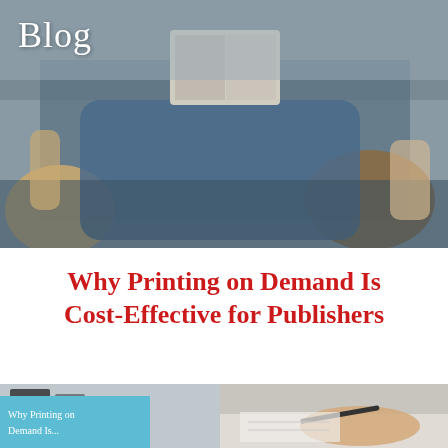[Figure (photo): Two children lying down and reading a book together, photographed from above. One child has blonde hair. Both are wearing denim clothing.]
Blog
Why Printing on Demand Is Cost-Effective for Publishers
[Figure (photo): Bottom preview image showing a book cover with teal overlay reading 'Why Printing on Demand Is...' on the left, and a hand holding a pen writing on the right.]